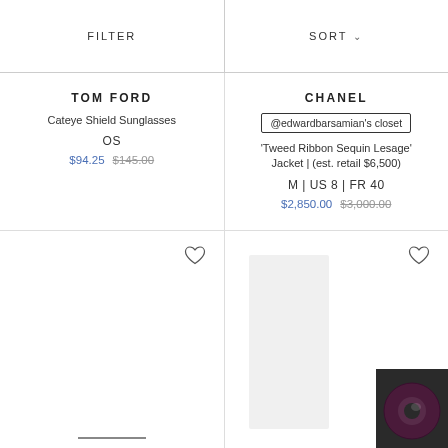FILTER
SORT
TOM FORD
Cateye Shield Sunglasses
OS
$94.25  $145.00
CHANEL
@edwardbarsamian's closet
'Tweed Ribbon Sequin Lesage' Jacket | (est. retail $6,500)
M | US 8 | FR 40
$2,850.00  $3,000.00
[Figure (photo): Bottom left product image area with a horizontal line/bar element]
[Figure (photo): Bottom right product area showing a light-colored garment and a dark purple/maroon belt/accessory coiled item with a dark background card]